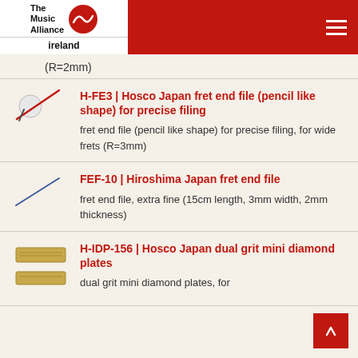The Music Alliance ireland
(R=2mm)
H-FE3 | Hosco Japan fret end file (pencil like shape) for precise filing
fret end file (pencil like shape) for precise filing, for wide frets (R=3mm)
FEF-10 | Hiroshima Japan fret end file
fret end file, extra fine (15cm length, 3mm width, 2mm thickness)
H-IDP-156 | Hosco Japan dual grit mini diamond plates
dual grit mini diamond plates, for